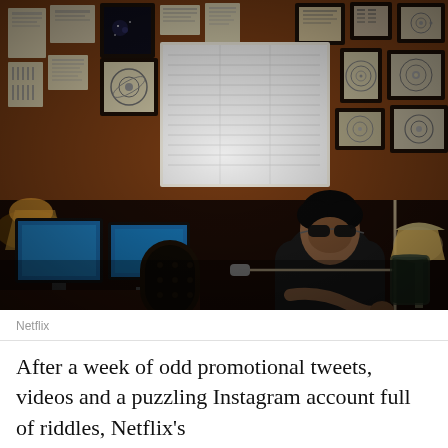[Figure (photo): A man wearing sunglasses sits in a dark, cluttered study or office. Behind him is a wall covered with papers, documents, charts, and framed images. Two computer monitors glow blue on his left. A lamp is lit on the right side. The room has warm brown wooden tones and dim atmospheric lighting.]
Netflix
After a week of odd promotional tweets, videos and a puzzling Instagram account full of riddles, Netflix's